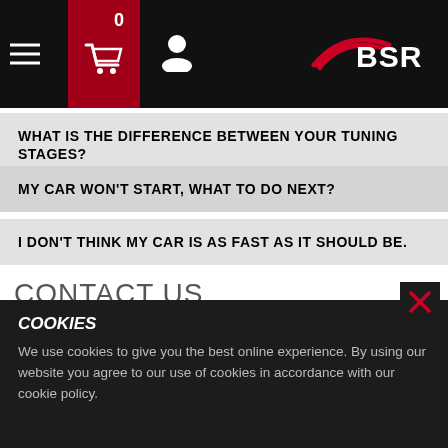[Figure (logo): BSR logo with red swoosh on black navigation bar, with hamburger menu, cart icon with count 0, and user profile icon]
WHAT IS THE DIFFERENCE BETWEEN YOUR TUNING STAGES?
MY CAR WON'T START, WHAT TO DO NEXT?
I DON'T THINK MY CAR IS AS FAST AS IT SHOULD BE.
CONTACT US
SUPPORT
ADDRESS
DEALERS
COOKIES
We use cookies to give you the best online experience. By using our website you agree to our use of cookies in accordance with our cookie policy.